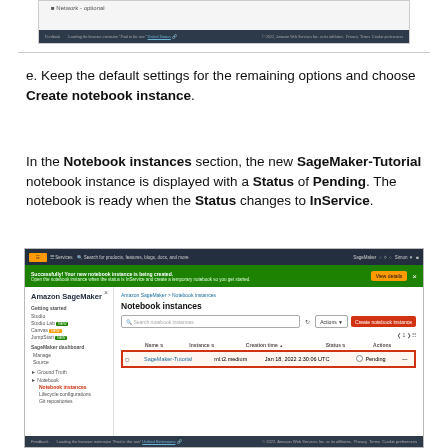[Figure (screenshot): Top portion of AWS SageMaker console showing bottom of create notebook form with Network - optional section and a dark footer bar.]
e. Keep the default settings for the remaining options and choose Create notebook instance.
In the Notebook instances section, the new SageMaker-Tutorial notebook instance is displayed with a Status of Pending. The notebook is ready when the Status changes to InService.
[Figure (screenshot): AWS SageMaker console screenshot showing the Notebook instances page with a new SageMaker-Tutorial instance listed with status Pending.]